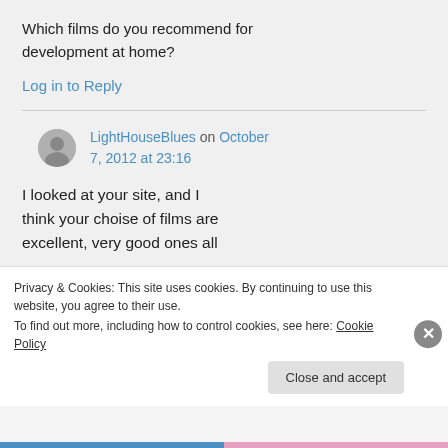Which films do you recommend for development at home?
Log in to Reply
LightHouseBlues on October 7, 2012 at 23:16
I looked at your site, and I think your choise of films are excellent, very good ones all
Privacy & Cookies: This site uses cookies. By continuing to use this website, you agree to their use.
To find out more, including how to control cookies, see here: Cookie Policy
Close and accept